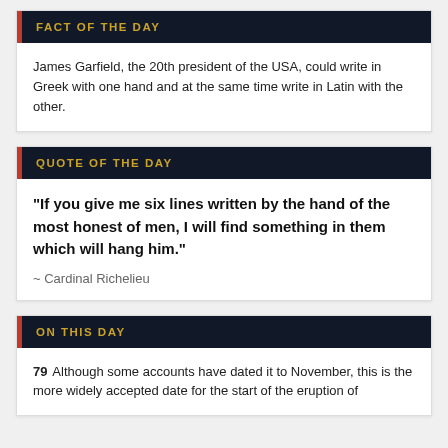FACT OF THE DAY
James Garfield, the 20th president of the USA, could write in Greek with one hand and at the same time write in Latin with the other.
QUOTE OF THE DAY
"If you give me six lines written by the hand of the most honest of men, I will find something in them which will hang him."
~ Cardinal Richelieu
ON THIS DAY
79 Although some accounts have dated it to November, this is the more widely accepted date for the start of the eruption of...